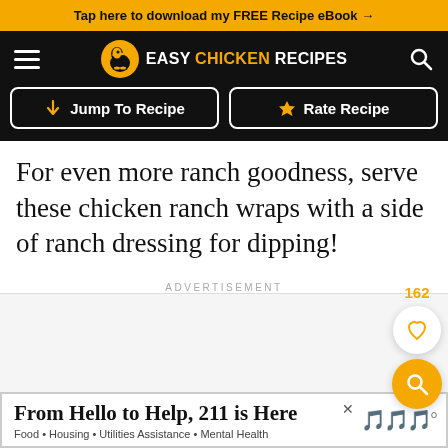Tap here to download my FREE Recipe eBook →
[Figure (logo): Easy Chicken Recipes website header with hamburger menu, chicken logo, site name, and search icon on black background]
[Figure (screenshot): Two buttons: Jump To Recipe (with down arrow) and Rate Recipe (with star), on black background]
For even more ranch goodness, serve these chicken ranch wraps with a side of ranch dressing for dipping!
[Figure (other): Advertisement area with ADVERTISEMENT label, heart favorites button showing 162 count, and orange search/magnify button]
ADVERTISEMENT
[Figure (other): Bottom advertisement banner: From Hello to Help, 211 is Here. Food • Housing • Utilities Assistance • Mental Health]